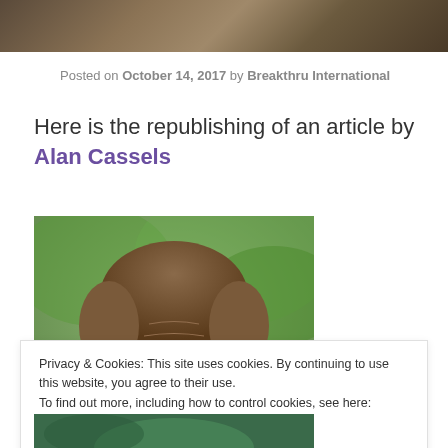[Figure (photo): Blurred background header image with warm brown and olive tones]
Posted on October 14, 2017 by Breakthru International
Here is the republishing of an article by Alan Cassels
[Figure (photo): Close-up photo of a man with brown hair outdoors with green foliage background]
Privacy & Cookies: This site uses cookies. By continuing to use this website, you agree to their use.
To find out more, including how to control cookies, see here: Cookie Policy
Close and accept